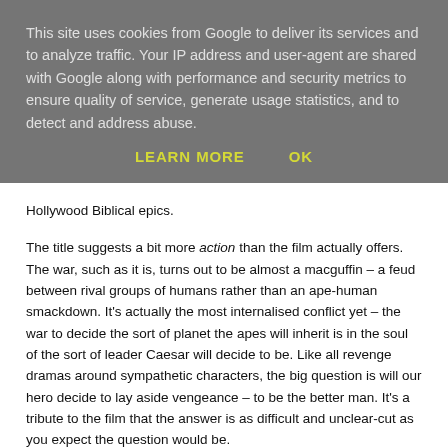This site uses cookies from Google to deliver its services and to analyze traffic. Your IP address and user-agent are shared with Google along with performance and security metrics to ensure quality of service, generate usage statistics, and to detect and address abuse.
LEARN MORE    OK
Hollywood Biblical epics.
The title suggests a bit more action than the film actually offers. The war, such as it is, turns out to be almost a macguffin – a feud between rival groups of humans rather than an ape-human smackdown. It's actually the most internalised conflict yet – the war to decide the sort of planet the apes will inherit is in the soul of the sort of leader Caesar will decide to be. Like all revenge dramas around sympathetic characters, the big question is will our hero decide to lay aside vengeance – to be the better man. It's a tribute to the film that the answer is as difficult and unclear-cut as you expect the question would be.
As this film, more than any other, is ape-centric (there are at best three human characters), it rests even more than on the strength of Serkis'